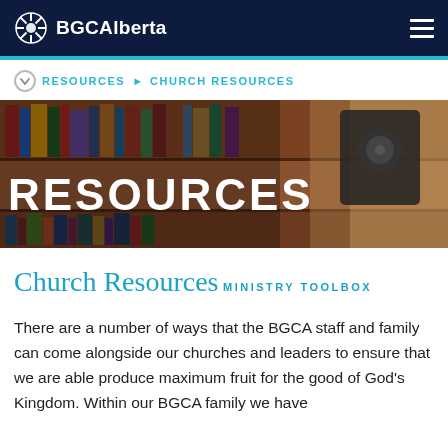BGCAlberta
RESOURCES ▶ CHURCH RESOURCES
[Figure (photo): Hero banner image showing a bookshelf with books and audio equipment, with large white text 'RESOURCES' overlaid on top]
Church Resources
MINISTRY TOOLBOX
There are a number of ways that the BGCA staff and family can come alongside our churches and leaders to ensure that we are able produce maximum fruit for the good of God's Kingdom.  Within our BGCA family we have